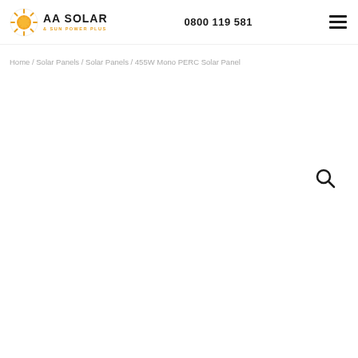[Figure (logo): AA Solar & Sun Power Plus logo with sun icon]
0800 119 581
[Figure (other): Hamburger menu icon (three horizontal lines)]
Home / Solar Panels / Solar Panels / 455W Mono PERC Solar Panel
[Figure (other): Search (magnifying glass) icon]